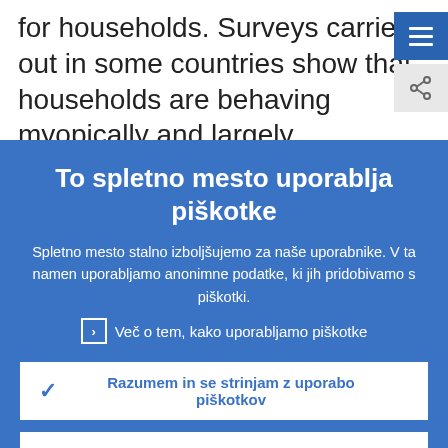for households. Surveys carried out in some countries show that households are behaving myopically and largely underestimate the magnitude of the risks
To spletno mesto uporablja piškotke
Spletno mesto stalno izboljšujemo za naše uporabnike. V ta namen uporabljamo anonimne podatke, ki jih pridobivamo s piškotki.
Več o tem, kako uporabljamo piškotke
Razumem in se strinjam z uporabo piškotkov
Ne strinjam se z uporabo piškotkov